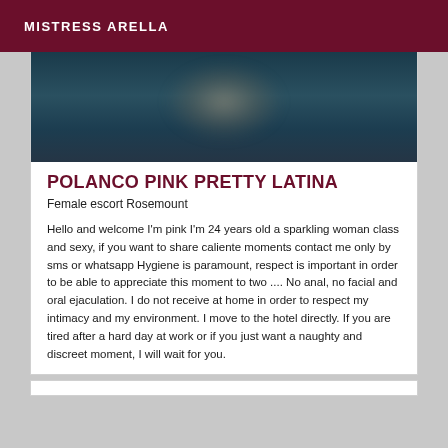MISTRESS ARELLA
[Figure (photo): Dark blurred photo with teal/blue background, partially visible blurred figure]
POLANCO PINK PRETTY LATINA
Female escort Rosemount
Hello and welcome I'm pink I'm 24 years old a sparkling woman class and sexy, if you want to share caliente moments contact me only by sms or whatsapp Hygiene is paramount, respect is important in order to be able to appreciate this moment to two .... No anal, no facial and oral ejaculation. I do not receive at home in order to respect my intimacy and my environment. I move to the hotel directly. If you are tired after a hard day at work or if you just want a naughty and discreet moment, I will wait for you.